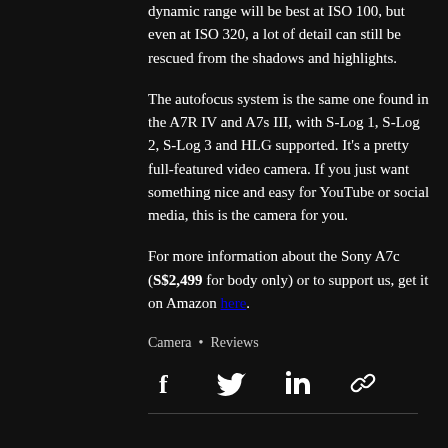dynamic range will be best at ISO 100, but even at ISO 320, a lot of detail can still be rescued from the shadows and highlights.
The autofocus system is the same one found in the A7R IV and A7s III, with S-Log 1, S-Log 2, S-Log 3 and HLG supported. It’s a pretty full-featured video camera. If you just want something nice and easy for YouTube or social media, this is the camera for you.
For more information about the Sony A7c (S$2,499 for body only) or to support us, get it on Amazon here.
Camera • Reviews
[Figure (infographic): Social share icons: Facebook, Twitter, LinkedIn, and a link/chain icon]